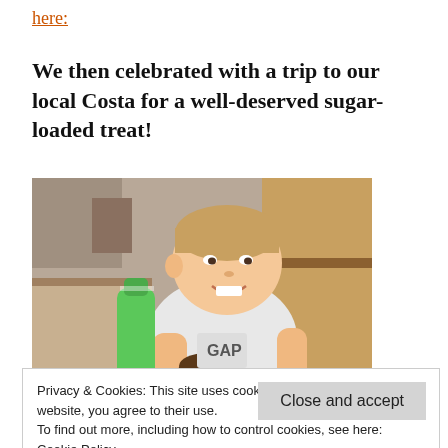here:
We then celebrated with a trip to our local Costa for a well-deserved sugar-loaded treat!
[Figure (photo): A smiling young boy sitting in a café (Costa Coffee), holding a chocolate cake/brownie, with a green water bottle in front of him. Wooden booth seating visible in background.]
Privacy & Cookies: This site uses cookies. By continuing to use this website, you agree to their use.
To find out more, including how to control cookies, see here:
Cookie Policy
Close and accept
wants to take a kindness goodie bag with him